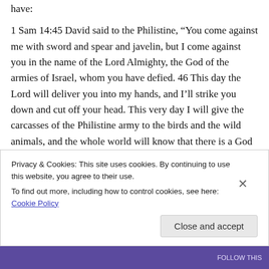have:
1 Sam 14:45 David said to the Philistine, “You come against me with sword and spear and javelin, but I come against you in the name of the Lord Almighty, the God of the armies of Israel, whom you have defied. 46 This day the Lord will deliver you into my hands, and I’ll strike you down and cut off your head. This very day I will give the carcasses of the Philistine army to the birds and the wild animals, and the whole world will know that there is a God in Israel. 47
Privacy & Cookies: This site uses cookies. By continuing to use this website, you agree to their use.
To find out more, including how to control cookies, see here: Cookie Policy